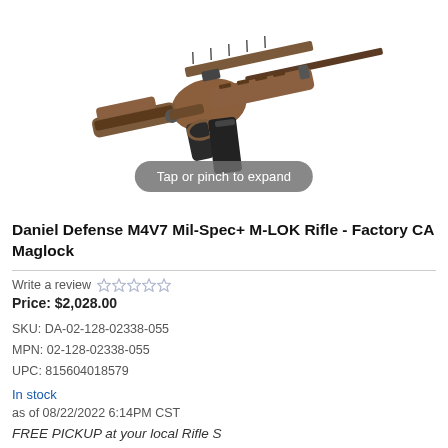[Figure (photo): Product photo of a Daniel Defense M4V7 Mil-Spec+ M-LOK Rifle in a dark earth/bronze finish with black pistol grip, adjustable stock, and magazine, shown on white background at an angle.]
Tap or pinch to expand
Daniel Defense M4V7 Mil-Spec+ M-LOK Rifle - Factory CA Maglock
Write a review ☆☆☆☆☆
Price: $2,028.00
SKU: DA-02-128-02338-055
MPN: 02-128-02338-055
UPC: 815604018579
In stock
as of 08/22/2022 6:14PM CST
FREE PICKUP at your local Rifle Store